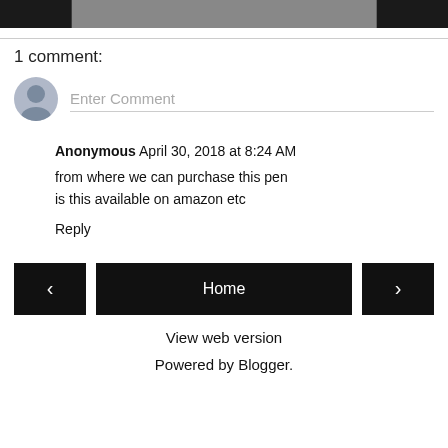[Figure (photo): Top dark image bar with lighter gray image area in center]
1 comment:
[Figure (other): Comment input field with user avatar circle and Enter Comment placeholder]
Anonymous  April 30, 2018 at 8:24 AM
from where we can purchase this pen
is this available on amazon etc
Reply
Home
View web version
Powered by Blogger.